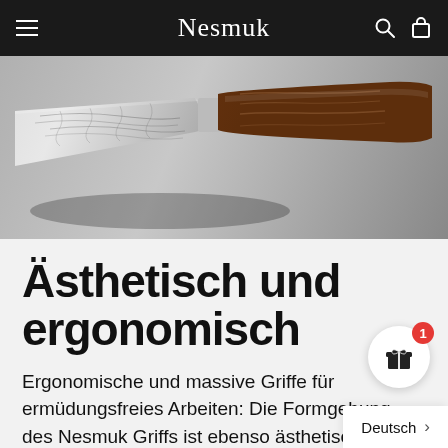Nesmuk
[Figure (photo): Close-up photo of a Nesmuk knife showing a Damascus steel blade with intricate pattern and a brown wooden ergonomic handle, on a grey background.]
Ästhetisch und ergonomisch
Ergonomische und massive Griffe für ermüdungsfreies Arbeiten: Die Formgebung des Nesmuk Griffs ist ebenso ästhetisch wie praktisc…